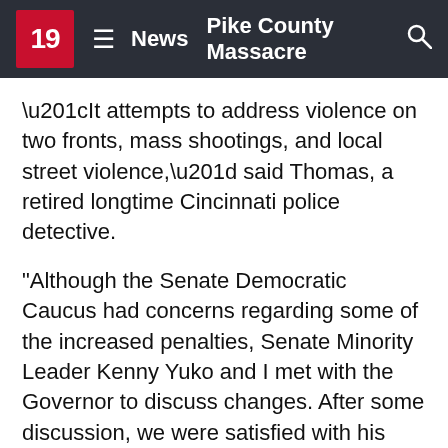19  ≡  News  Pike County Massacre  🔍
“It attempts to address violence on two fronts, mass shootings, and local street violence,” said Thomas, a retired longtime Cincinnati police detective.
"Although the Senate Democratic Caucus had concerns regarding some of the increased penalties, Senate Minority Leader Kenny Yuko and I met with the Governor to discuss changes. After some discussion, we were satisfied with his adjustments.
“We know this will not bring an end to the violence but it’s taking Ohio in the right direction. If one life is saved as a result of this legislation, then it’s a success. The challenge for the governor and my caucus is getting both houses to agree. The Senate Democratic Caucus with help from Republican senators like Peggy Lehner, continue to fight for universal background checks, closing gun show